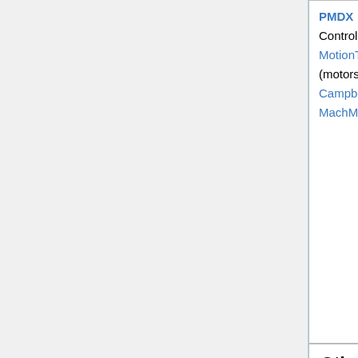PMDX (CNC/Motion Control Boards); MotionTek (motors/servos); CampbellDesigns; MachMotion
Premi Co.; BidItU Dove Relian Asset/ Transz ICollec
| Other Numerical Machine Tools | Pneumatics/Hyd |
| --- | --- |
| Water Jets: WaterJets.Org; Yahoo WaterJets Group; | Festo; |
| Fixtures/Clamps/Vises | Raw Material |
| --- | --- |
| DestaCo (clamps, | Industrial |